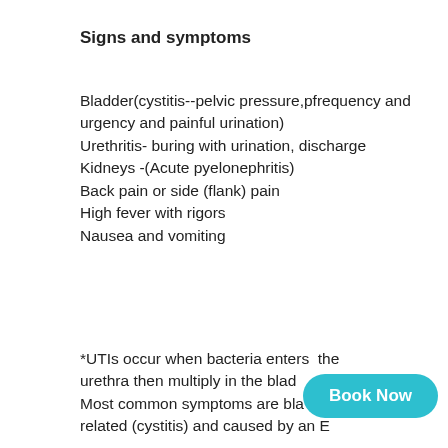Signs and symptoms
Bladder(cystitis--pelvic pressure,pfrequency and urgency and painful urination)
Urethritis- buring with urination, discharge
Kidneys -(Acute pyelonephritis)
Back pain or side (flank) pain
High fever with rigors
Nausea and vomiting
*UTIs occur when bacteria enters  the urethra then multiply in the blad... Most common symptoms are bla... related (cystitis) and caused by an E